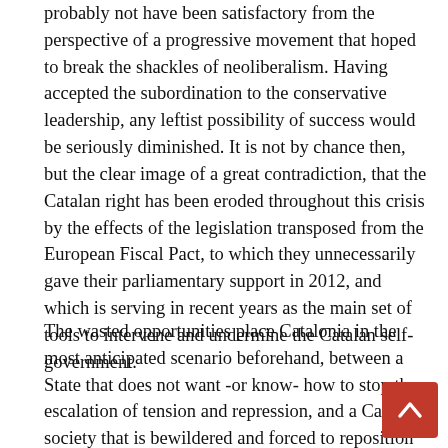probably not have been satisfactory from the perspective of a progressive movement that hoped to break the shackles of neoliberalism. Having accepted the subordination to the conservative leadership, any leftist possibility of success would be seriously diminished. It is not by chance then, but the clear image of a great contradiction, that the Catalan right has been eroded throughout this crisis by the effects of the legislation transposed from the European Fiscal Pact, to which they unnecessarily gave their parliamentary support in 2012, and which is serving in recent years as the main set of tools to intervene and undermine the Catalan self-government.
The wasted opportunities place Catalonia in the most anticipated scenario beforehand, between a State that does not want -or know- how to stop the escalation of tension and repression, and a Catalan society that is bewildered and forced to reposition itself. The left is in the middle of it with the need to quickly define a coherent and solid strategy that allows it to unite and move forward overcoming the duel of nationalisms and to direct the situation towards the defence of the democratic and material needs of the popular classes.